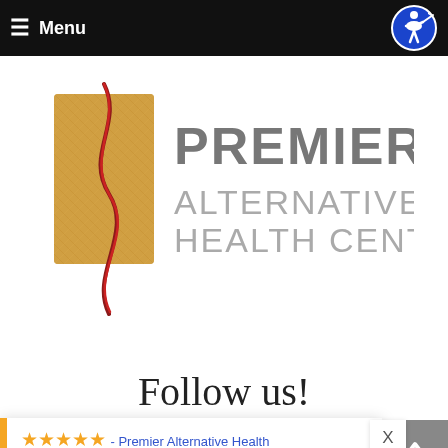≡ Menu
[Figure (logo): Premier Alternative Health Center logo — golden textured rectangle with red curved spine illustration, text 'PREMIER ALTERNATIVE HEALTH CENTER' in large grey letters]
Follow us!
★★★★★ - Premier Alternative Health
"I just love Dr. Billings and his entire staff. Everyone is friendly and accommodating. He always treats whatever is willing me and he works with me no matter how difficult my treatment might be. He us..."
— Ronni Jones, in the last 2 weeks
⚡ by Review Wave